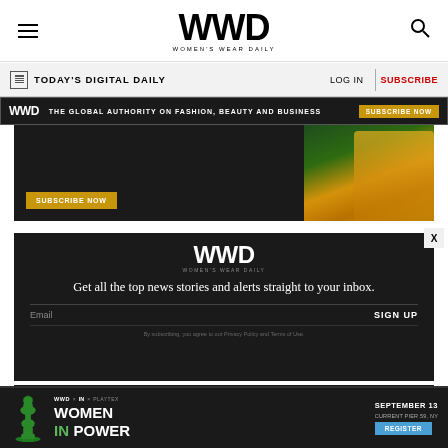WWD WOMEN'S WEAR DAILY
TODAY'S DIGITAL DAILY   LOG IN   SUBSCRIBE
[Figure (infographic): WWD dark promo banner: THE GLOBAL AUTHORITY ON FASHION, BEAUTY AND BUSINESS with SUBSCRIBE NOW button]
[Figure (infographic): Dark subscription ad with SUBSCRIBE NOW button and fashion model holding yellow bag]
[Figure (infographic): WWD newsletter signup box: Get all the top news stories and alerts straight to your inbox. Email field with SIGN UP button. Privacy Policy disclaimer.]
[Figure (infographic): Bottom ad: WWD x IN x additional logos - WOMEN IN POWER event. September 13, Current Pier 59, NY. REGISTER button. Green chess queen piece icon.]